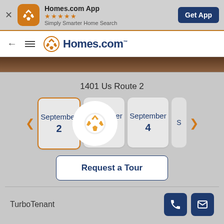[Figure (screenshot): Homes.com mobile app banner with app icon, star rating, tagline, and Get App button]
[Figure (screenshot): Homes.com website navigation bar with back arrow, hamburger menu, and Homes.com logo]
1401 Us Route 2
[Figure (screenshot): Date picker showing September 2 (selected with orange border), September 3 (loading spinner overlay), September 4, and partial S day with left/right arrows]
[Figure (screenshot): Request a Tour button]
TurboTenant
[Figure (screenshot): Phone and email icon buttons in dark navy blue]